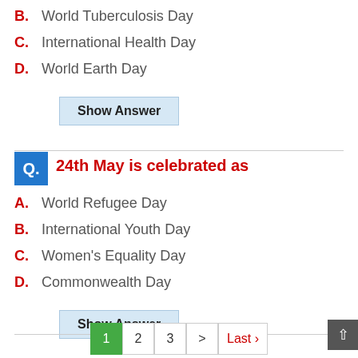B. World Tuberculosis Day
C. International Health Day
D. World Earth Day
Show Answer
24th May is celebrated as
A. World Refugee Day
B. International Youth Day
C. Women's Equality Day
D. Commonwealth Day
Show Answer
1  2  3  >  Last ›